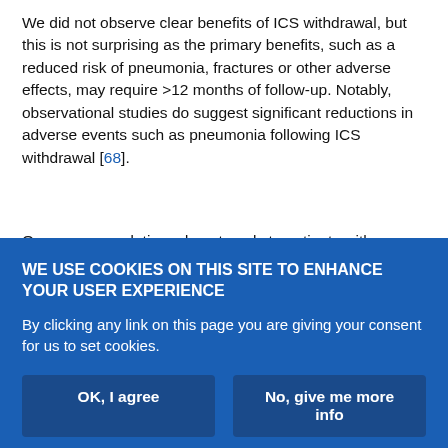We did not observe clear benefits of ICS withdrawal, but this is not surprising as the primary benefits, such as a reduced risk of pneumonia, fractures or other adverse effects, may require >12 months of follow-up. Notably, observational studies do suggest significant reductions in adverse events such as pneumonia following ICS withdrawal [68].
Our recommendations do not apply to patients with asthma, and we do not address in this guideline how to differentiate asthma and COPD [69]. The trials included in our meta-analysis all excluded patients with asthma and so our guideline algorithm begins with a clear instruction to exclude asthma. We identified various algorithms
WE USE COOKIES ON THIS SITE TO ENHANCE YOUR USER EXPERIENCE
By clicking any link on this page you are giving your consent for us to set cookies.